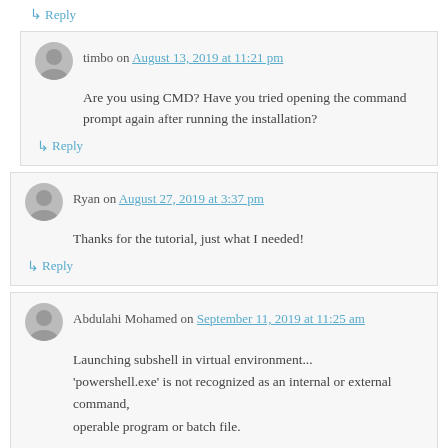↳ Reply
timbo on August 13, 2019 at 11:21 pm
Are you using CMD? Have you tried opening the command prompt again after running the installation?
↳ Reply
Ryan on August 27, 2019 at 3:37 pm
Thanks for the tutorial, just what I needed!
↳ Reply
Abdulahi Mohamed on September 11, 2019 at 11:25 am
Launching subshell in virtual environment...
'powershell.exe' is not recognized as an internal or external command,
operable program or batch file.